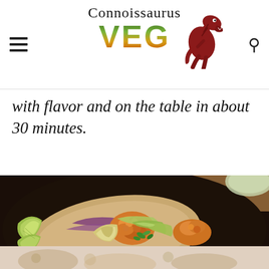Connoissaurus VEG
with flavor and on the table in about 30 minutes.
[Figure (photo): Close-up photo of cauliflower tacos on a dark plate, topped with creamy avocado green sauce and fresh cilantro, with lime wedges and purple cabbage visible. Served on flour tortillas on a wooden surface.]
[Figure (photo): Partial bottom image showing additional food, lightly visible.]